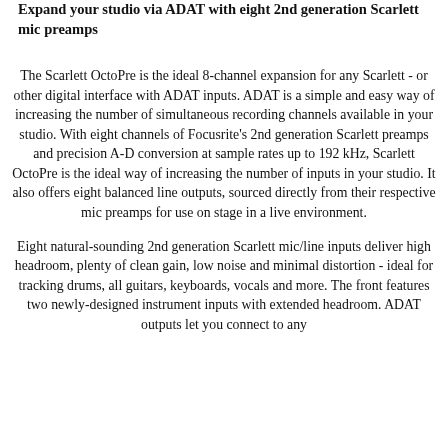Expand your studio via ADAT with eight 2nd generation Scarlett mic preamps
The Scarlett OctoPre is the ideal 8-channel expansion for any Scarlett - or other digital interface with ADAT inputs. ADAT is a simple and easy way of increasing the number of simultaneous recording channels available in your studio. With eight channels of Focusrite's 2nd generation Scarlett preamps and precision A-D conversion at sample rates up to 192 kHz, Scarlett OctoPre is the ideal way of increasing the number of inputs in your studio. It also offers eight balanced line outputs, sourced directly from their respective mic preamps for use on stage in a live environment.
Eight natural-sounding 2nd generation Scarlett mic/line inputs deliver high headroom, plenty of clean gain, low noise and minimal distortion - ideal for tracking drums, all guitars, keyboards, vocals and more. The front features two newly-designed instrument inputs with extended headroom. ADAT outputs let you connect to any